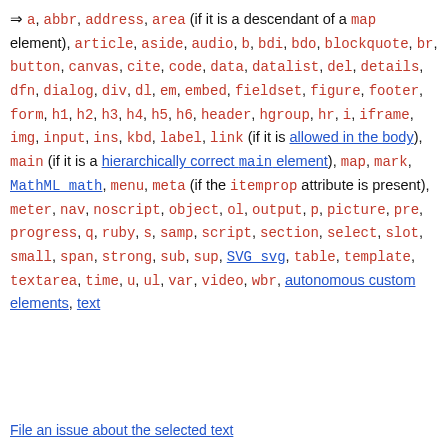⇒ a, abbr, address, area (if it is a descendant of a map element), article, aside, audio, b, bdi, bdo, blockquote, br, button, canvas, cite, code, data, datalist, del, details, dfn, dialog, div, dl, em, embed, fieldset, figure, footer, form, h1, h2, h3, h4, h5, h6, header, hgroup, hr, i, iframe, img, input, ins, kbd, label, link (if it is allowed in the body), main (if it is a hierarchically correct main element), map, mark, MathML math, menu, meta (if the itemprop attribute is present), meter, nav, noscript, object, ol, output, p, picture, pre, progress, q, ruby, s, samp, script, section, select, slot, small, span, strong, sub, sup, SVG svg, table, template, textarea, time, u, ul, var, video, wbr, autonomous custom elements, text
File an issue about the selected text